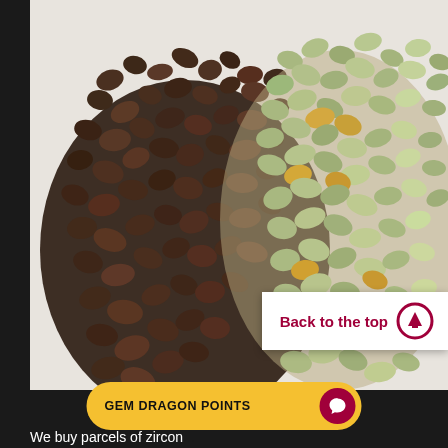[Figure (photo): Photograph of two piles of rough gemstone parcels on a white surface. Left pile consists of dark brownish-red/maroon zircon stones. Right pile consists of lighter greenish-yellow/olive colored zircon stones.]
Back to the top
GEM DRAGON POINTS
We buy parcels of zircon...